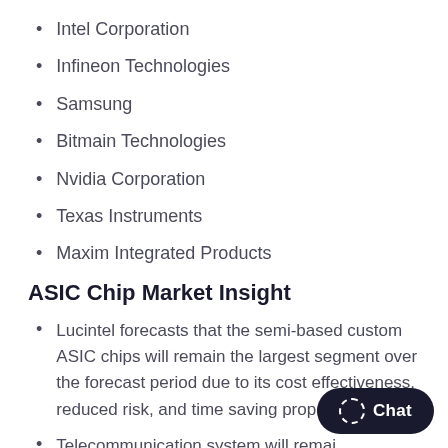Intel Corporation
Infineon Technologies
Samsung
Bitmain Technologies
Nvidia Corporation
Texas Instruments
Maxim Integrated Products
ASIC Chip Market Insight
Lucintel forecasts that the semi-based custom ASIC chips will remain the largest segment over the forecast period due to its cost effectiveness, reduced risk, and time saving properties.
Telecommunication system will remai…